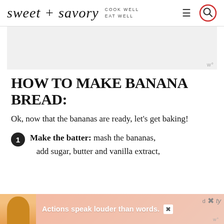sweet + savory COOK WELL EAT WELL
[Figure (screenshot): Gray advertisement placeholder box with 'w°' branding mark in lower right]
HOW TO MAKE BANANA BREAD:
Ok, now that the bananas are ready, let's get baking!
1. Make the batter: mash the bananas, add sugar, butter and vanilla extract,
[Figure (screenshot): Advertisement banner at bottom: person in yellow shirt, text 'Actions speak louder than words.' with close buttons and 'w°' branding]